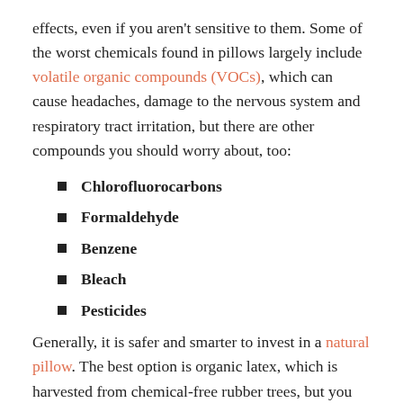effects, even if you aren't sensitive to them. Some of the worst chemicals found in pillows largely include volatile organic compounds (VOCs), which can cause headaches, damage to the nervous system and respiratory tract irritation, but there are other compounds you should worry about, too:
Chlorofluorocarbons
Formaldehyde
Benzene
Bleach
Pesticides
Generally, it is safer and smarter to invest in a natural pillow. The best option is organic latex, which is harvested from chemical-free rubber trees, but you can